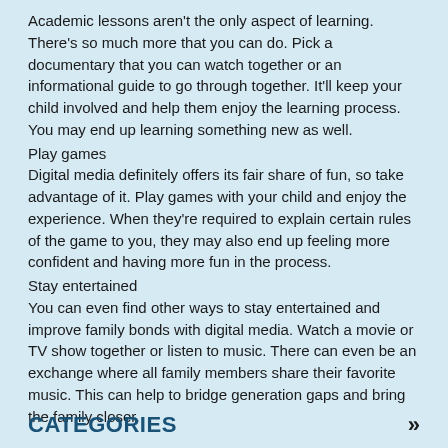Academic lessons aren't the only aspect of learning. There's so much more that you can do. Pick a documentary that you can watch together or an informational guide to go through together. It'll keep your child involved and help them enjoy the learning process. You may end up learning something new as well.
Play games
Digital media definitely offers its fair share of fun, so take advantage of it. Play games with your child and enjoy the experience. When they're required to explain certain rules of the game to you, they may also end up feeling more confident and having more fun in the process.
Stay entertained
You can even find other ways to stay entertained and improve family bonds with digital media. Watch a movie or TV show together or listen to music. There can even be an exchange where all family members share their favorite music. This can help to bridge generation gaps and bring the family closer.
CATEGORIES